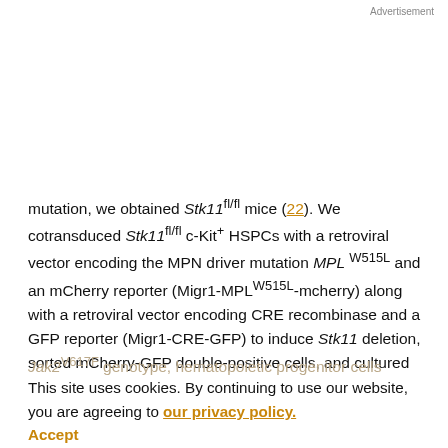Advertisement
mutation, we obtained Stk11 fl/fl mice (22). We cotransduced Stk11 fl/fl c-Kit+ HSPCs with a retroviral vector encoding the MPN driver mutation MPL W515L and an mCherry reporter (Migr1-MPLW515L-mcherry) along with a retroviral vector encoding CRE recombinase and a GFP reporter (Migr1-CRE-GFP) to induce Stk11 deletion, sorted mCherry-GFP double-positive cells, and cultured them in methylcellulose media (Fig. 1G). As with the
Jak2 V617F genotype, hematopoietic progenitor cells expressing MPL W515L alone failed to serially replate (Fig. 1D). By contrast, homozygous deletion of Stk11 in combination with MPL W515L (MPL W515L/Stk11 Δ/Δ) led to a
This site uses cookies. By continuing to use our website, you are agreeing to our privacy policy. Accept